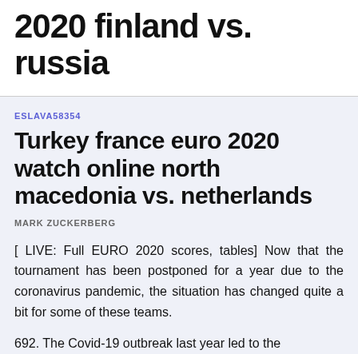2020 finland vs. russia
ESLAVA58354
Turkey france euro 2020 watch online north macedonia vs. netherlands
MARK ZUCKERBERG
[ LIVE: Full EURO 2020 scores, tables] Now that the tournament has been postponed for a year due to the coronavirus pandemic, the situation has changed quite a bit for some of these teams.
692. The Covid-19 outbreak last year led to the